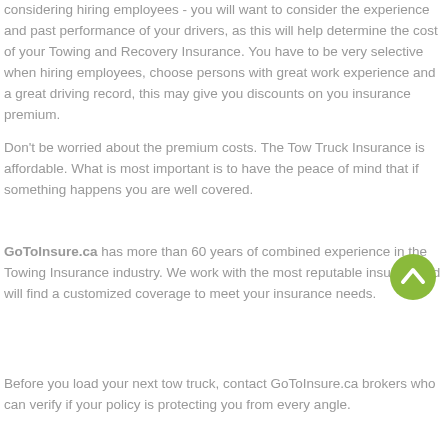considering hiring employees - you will want to consider the experience and past performance of your drivers, as this will help determine the cost of your Towing and Recovery Insurance. You have to be very selective when hiring employees, choose persons with great work experience and a great driving record, this may give you discounts on you insurance premium.
Don't be worried about the premium costs. The Tow Truck Insurance is affordable. What is most important is to have the peace of mind that if something happens you are well covered.
GoToInsure.ca has more than 60 years of combined experience in the Towing Insurance industry. We work with the most reputable insurers and will find a customized coverage to meet your insurance needs.
[Figure (illustration): Green circular back-to-top button with upward arrow chevron]
Before you load your next tow truck, contact GoToInsure.ca brokers who can verify if your policy is protecting you from every angle.